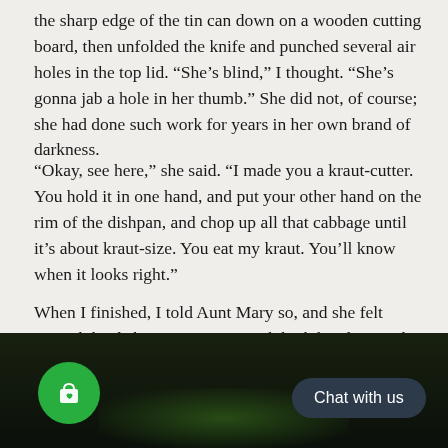the sharp edge of the tin can down on a wooden cutting board, then unfolded the knife and punched several air holes in the top lid. “She’s blind,” I thought. “She’s gonna jab a hole in her thumb.” She did not, of course; she had done such work for years in her own brand of darkness.
“Okay, see here,” she said. “I made you a kraut-cutter. You hold it in one hand, and put your other hand on the rim of the dishpan, and chop up all that cabbage until it’s about kraut-size. You eat my kraut. You’ll know when it looks right.”
When I finished, I told Aunt Mary so, and she felt around the dishpan’s contents with both hands to make sure I’d done the job right. Then, she said, “Follow me out to the back porch now and don’t spill none of it.”
[Figure (screenshot): Dark bottom bar with a green circular shopping bag icon on the left and a dark rounded 'Chat with us' button on the right, over a dark background with a subtle green glow.]